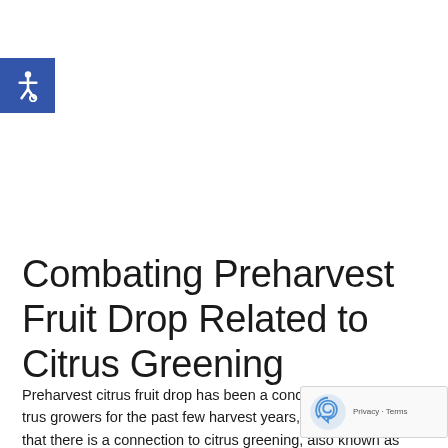[Figure (logo): Accessibility wheelchair icon in blue square]
Combating Preharvest Fruit Drop Related to Citrus Greening
Preharvest citrus fruit drop has been a concern for Florida citrus growers for the past few harvest years, and it's no surprise that there is a connection to citrus greening, also known as HLB, exactly...